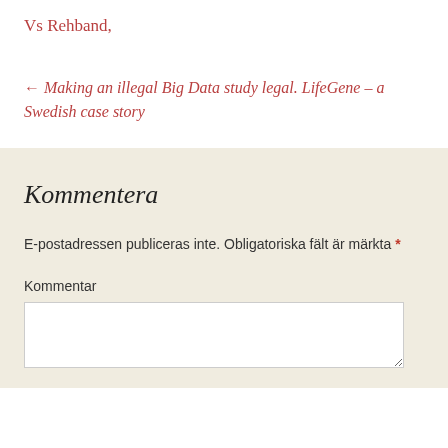Vs Rehband,
← Making an illegal Big Data study legal. LifeGene – a Swedish case story
Kommentera
E-postadressen publiceras inte. Obligatoriska fält är märkta *
Kommentar